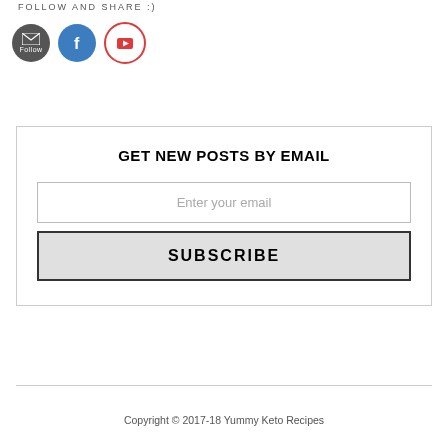FOLLOW AND SHARE :)
[Figure (illustration): Three social media icon circles: email/follow (dark grey), Facebook (blue), YouTube (red border with play button)]
GET NEW POSTS BY EMAIL
Enter your email
SUBSCRIBE
Copyright © 2017-18 Yummy Keto Recipes